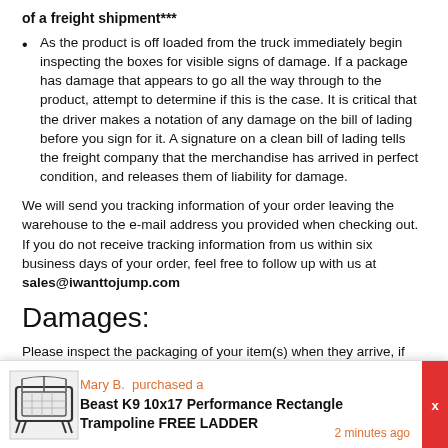of a freight shipment***
As the product is off loaded from the truck immediately begin inspecting the boxes for visible signs of damage. If a package has damage that appears to go all the way through to the product, attempt to determine if this is the case. It is critical that the driver makes a notation of any damage on the bill of lading before you sign for it. A signature on a clean bill of lading tells the freight company that the merchandise has arrived in perfect condition, and releases them of liability for damage.
We will send you tracking information of your order leaving the warehouse to the e-mail address you provided when checking out. If you do not receive tracking information from us within six business days of your order, feel free to follow up with us at sales@iwanttojump.com
Damages:
Please inspect the packaging of your item(s) when they arrive, if you notice any damage you should make note of it when signing for delivery. If your item(s) do arrived damaged, please send photos returns@iwanttojump.com and we will process an insurance claim on
[Figure (infographic): Popup notification showing a trampoline product purchase: Mary B. purchased a Beast K9 10x17 Performance Rectangle Trampoline FREE LADDER, 2 minutes ago]
Mary B. purchased a
Beast K9 10x17 Performance Rectangle Trampoline FREE LADDER
2 minutes ago